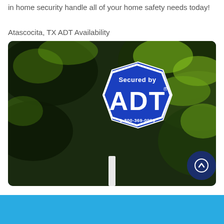in home security handle all of your home safety needs today!
Atascocita, TX ADT Availability
[Figure (photo): ADT blue octagonal yard sign reading 'Secured by ADT® 1-800-369-0996' on a post, surrounded by green foliage background]